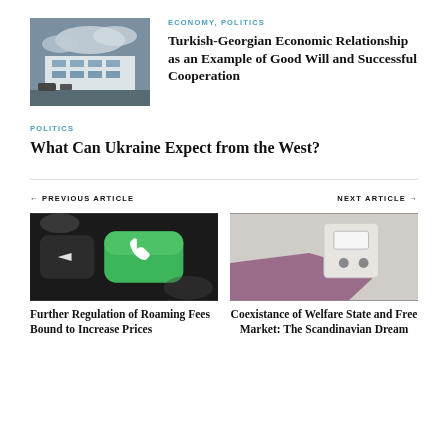[Figure (photo): Aerial or street-level view of a building with a cloudy sky, appears to be in a city]
ECONOMY, POLITICS
Turkish-Georgian Economic Relationship as an Example of Good Will and Successful Cooperation
POLITICS
What Can Ukraine Expect from the West?
← PREVIOUS ARTICLE
NEXT ARTICLE →
[Figure (photo): Close-up of a smartphone screen showing a green call button and a back button]
[Figure (photo): A white electrical outlet/socket on a wall next to a pink/purple surface]
Further Regulation of Roaming Fees Bound to Increase Prices
Coexistance of Welfare State and Free Market: The Scandinavian Dream